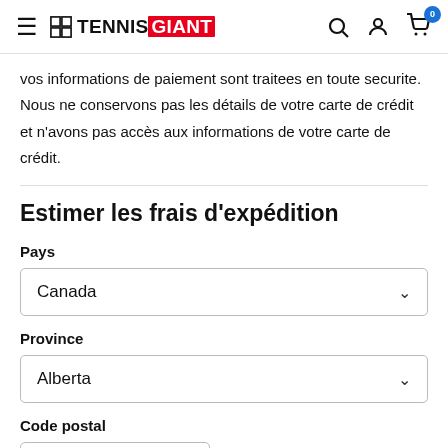Tennis Giant — navigation header with hamburger menu, logo, search, account, and cart icons
vos informations de paiement sont traitees en toute securite. Nous ne conservons pas les détails de votre carte de crédit et n'avons pas accès aux informations de votre carte de crédit.
Estimer les frais d'expédition
Pays
Canada
Province
Alberta
Code postal